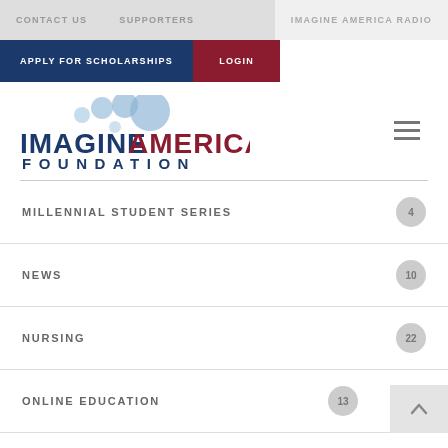CONTACT US   SUPPORTERS   IMAGINE AMERICA RADIO
APPLY FOR SCHOLARSHIPS   LOGIN
[Figure (logo): Imagine America Foundation logo with blue and red text and bubble circles]
MILLENNIAL STUDENT SERIES  4
NEWS  10
NURSING  22
ONLINE EDUCATION  13